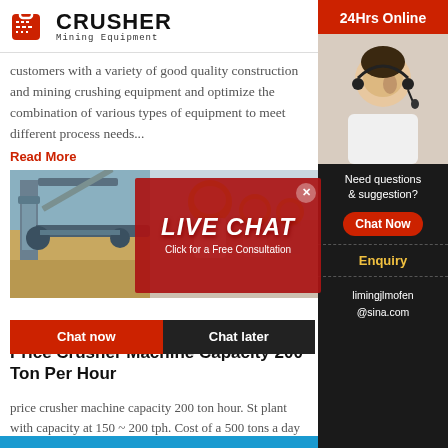[Figure (logo): Crusher Mining Equipment logo with red shopping bag icon and bold CRUSHER text]
customers with a variety of good quality construction and mining crushing equipment and optimize the combination of various types of equipment to meet different process needs...
Read More
[Figure (photo): Industrial mining conveyor equipment and workers in yellow hard hats]
[Figure (infographic): Live Chat overlay popup with red background showing LIVE CHAT text and Click for a Free Consultation, Chat now and Chat later buttons]
Price Crusher Machine Capacity 200 Ton Per Hour
price crusher machine capacity 200 ton hour. St plant with capacity at 150 ~ 200 tph. Cost of a 500 tons a day xsm. sbm 600 ton hour 600 ton crusher machine ,
Read More
[Figure (infographic): Right sidebar panel: 24Hrs Online header, agent photo with headset, Need questions & suggestion?, Chat Now button, Enquiry section, limingjlmofen@sina.com email]